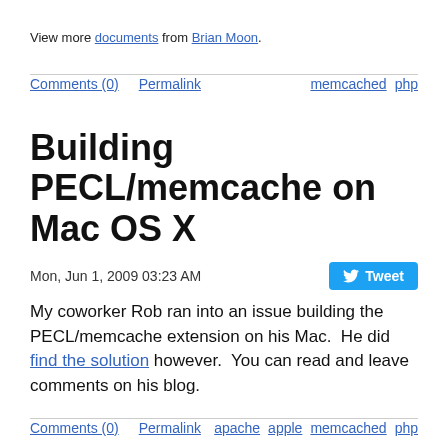View more documents from Brian Moon.
Comments (0)   Permalink   memcached   php
Building PECL/memcache on Mac OS X
Mon, Jun 1, 2009 03:23 AM
My coworker Rob ran into an issue building the PECL/memcache extension on his Mac. He did find the solution however. You can read and leave comments on his blog.
Comments (0)   Permalink   apache   apple   memcached   php